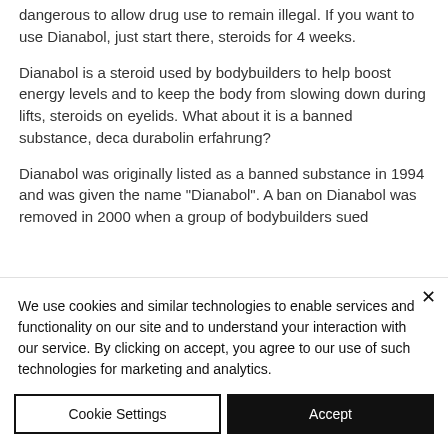dangerous to allow drug use to remain illegal. If you want to use Dianabol, just start there, steroids for 4 weeks.
Dianabol is a steroid used by bodybuilders to help boost energy levels and to keep the body from slowing down during lifts, steroids on eyelids. What about it is a banned substance, deca durabolin erfahrung?
Dianabol was originally listed as a banned substance in 1994 and was given the name "Dianabol". A ban on Dianabol was removed in 2000 when a group of bodybuilders sued
We use cookies and similar technologies to enable services and functionality on our site and to understand your interaction with our service. By clicking on accept, you agree to our use of such technologies for marketing and analytics.
Cookie Settings
Accept